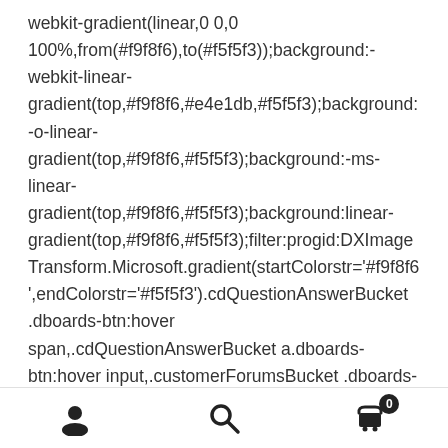webkit-gradient(linear,0 0,0 100%,from(#f9f8f6),to(#f5f5f3));background:-webkit-linear-gradient(top,#f9f8f6,#e4e1db,#f5f5f3);background:-o-linear-gradient(top,#f9f8f6,#f5f5f3);background:-ms-linear-gradient(top,#f9f8f6,#f5f5f3);background:linear-gradient(top,#f9f8f6,#f5f5f3);filter:progid:DXImageTransform.Microsoft.gradient(startColorstr='#f9f8f6',endColorstr='#f5f5f3').cdQuestionAnswerBucket .dboards-btn:hover span,.cdQuestionAnswerBucket a.dboards-btn:hover input,.customerForumsBucket .dboards-btn:hover span,.customerForumsBucket a.dboards-btn:hover input{color:#000;text-decoration:none;cursor:pointer}.cdQuestionAnswerBucket a.dboards-btn:active,.cdQuestionAnswerBucket
[user icon] [search icon] [cart icon with 0]